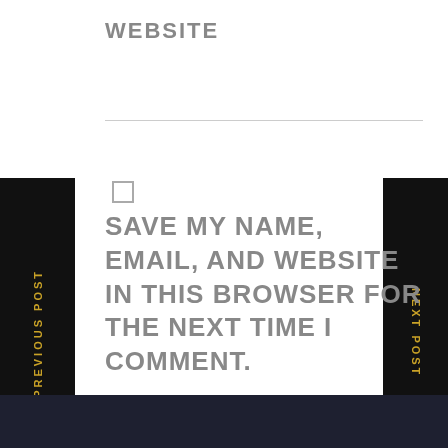WEBSITE
SAVE MY NAME, EMAIL, AND WEBSITE IN THIS BROWSER FOR THE NEXT TIME I COMMENT.
Post Comment
PREVIOUS POST
NEXT POST